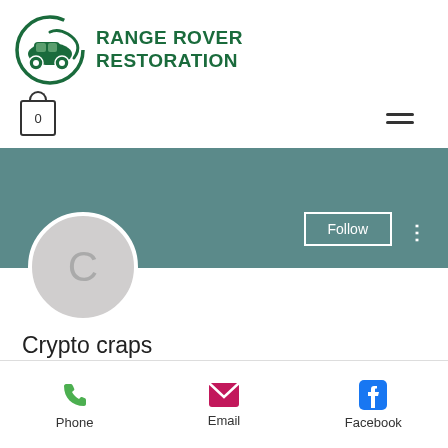[Figure (logo): Range Rover Restoration logo — green circle with car illustration and green bold text 'RANGE ROVER RESTORATION']
[Figure (screenshot): Mobile website UI showing cart icon with 0 and hamburger menu]
[Figure (screenshot): User profile banner in teal/slate color with Follow button and three-dot menu, avatar circle with letter C]
Crypto craps
0 Followers • 0 Following
[Figure (infographic): Contact bar with Phone (green phone icon), Email (pink envelope icon), Facebook (blue Facebook icon)]